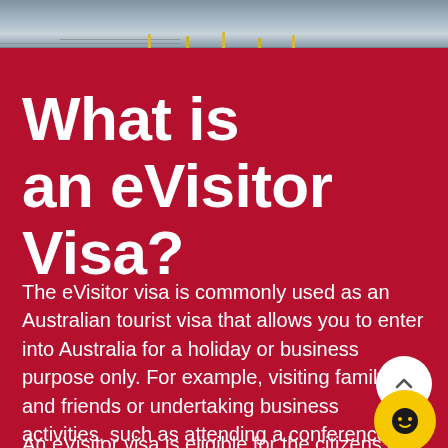[Figure (photo): Aerial or waterfront photo of an Australian city (Melbourne), showing a bridge and river, muted tones with architectural elements visible at the top of the page.]
What is an eVisitor Visa?
The eVisitor visa is commonly used as an Australian tourist visa that allows you to enter into Australia for a holiday or business purpose only. For example, visiting family and friends or undertaking business activities, such as attending a conference, making business enquirers, or for contractual negotiations. Business activity excludes selling goods or services to the Australian public.
An eVisitor visa is eligible for the citizens of the